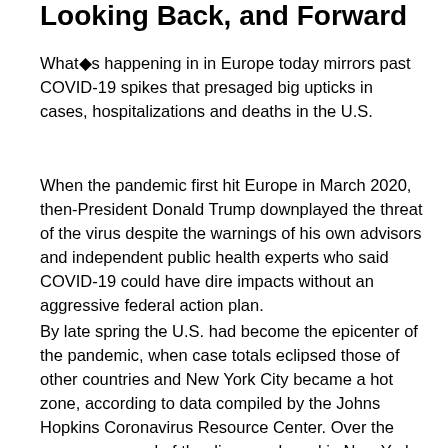Looking Back, and Forward
What◆s happening in in Europe today mirrors past COVID-19 spikes that presaged big upticks in cases, hospitalizations and deaths in the U.S.
When the pandemic first hit Europe in March 2020, then-President Donald Trump downplayed the threat of the virus despite the warnings of his own advisors and independent public health experts who said COVID-19 could have dire impacts without an aggressive federal action plan.
By late spring the U.S. had become the epicenter of the pandemic, when case totals eclipsed those of other countries and New York City became a hot zone, according to data compiled by the Johns Hopkins Coronavirus Resource Center. Over the summer, spread of the disease slowed in New York, after tough control measures were instituted, but